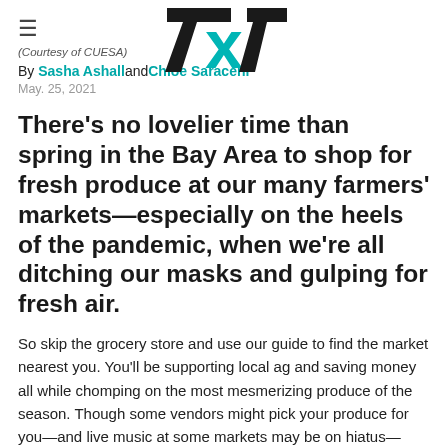[Figure (logo): 7x7 logo — '7' in black, 'x' in teal/cyan, '7' in black, bold angular sans-serif]
(Courtesy of CUESA)
By Sasha Ashall and Chloe Saraceni
May. 25, 2021
There's no lovelier time than spring in the Bay Area to shop for fresh produce at our many farmers' markets—especially on the heels of the pandemic, when we're all ditching our masks and gulping for fresh air.
So skip the grocery store and use our guide to find the market nearest you. You'll be supporting local ag and saving money all while chomping on the most mesmerizing produce of the season. Though some vendors might pick your produce for you—and live music at some markets may be on hiatus—SF's